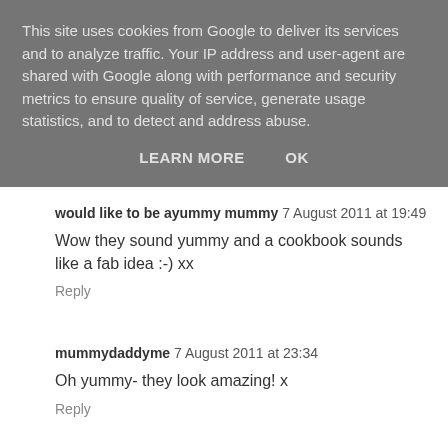This site uses cookies from Google to deliver its services and to analyze traffic. Your IP address and user-agent are shared with Google along with performance and security metrics to ensure quality of service, generate usage statistics, and to detect and address abuse.
LEARN MORE   OK
would like to be ayummy mummy 7 August 2011 at 19:49
Wow they sound yummy and a cookbook sounds like a fab idea :-) xx
Reply
mummydaddyme 7 August 2011 at 23:34
Oh yummy- they look amazing! x
Reply